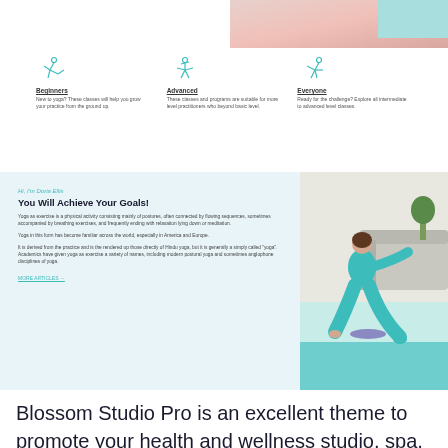[Figure (screenshot): Top partial screenshot area showing a reddish/peach colored decorative image strip at the top right, and a teal gradient shape]
[Figure (illustration): Yoga pose icon for Beginners - stick figure in yoga pose, teal/green color]
Beginners
New to yoga? These classes will help you grow your practice from the ground up.
[Figure (illustration): Yoga pose icon for Advanced - stick figure in yoga pose, teal/green color]
Advanced
These classes and programs are suitable for more level practitioners who beyond basic level.
[Figure (illustration): Yoga pose icon for Everyone - stick figure in yoga pose, teal/green color]
Everyone
Ready for the challenge? Explore all intermediate to advanced level classes.
Hi, I'm Doria Ellis
You Will Achieve Your Goals!
Yoga as exercise is a physical activity consisting mainly of postures, often connected by flowing sequences, sometimes accompanied by breathing exercises, and frequently ending with relaxation lying down or meditation.
Yoga in this form has become familiar across the world, especially in America and Europe.
It is derived from the practice and is the rendered up those directly of Hindu yoga, but it is generally simply called "yoga". Academics have given yoga as exercise a variety of names, including modern postural yoga and sometimes anglophone disciplines of yoga.
MORE ARTICLES →
[Figure (photo): Photo of a woman in teal/turquoise athletic wear doing a yoga pose on a blue mat, sitting and stretching with one leg extended, indoors with a sofa and plant in background]
Blossom Studio Pro is an excellent theme to promote your health and wellness studio, spa, or meditation studio. This SEO-optimized theme